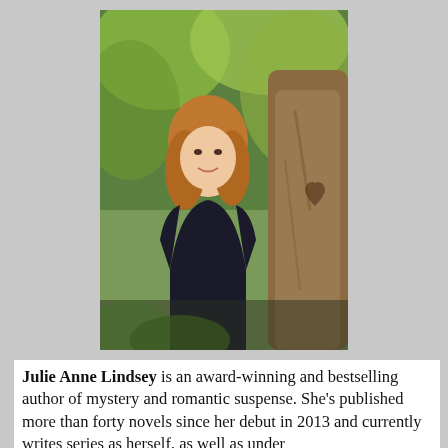[Figure (photo): Author photo of Julie Anne Lindsey standing outdoors leaning against a tree in a forest setting, wearing a dark jacket, with brown hair, smiling at the camera. Green foliage visible in background.]
Julie Anne Lindsey is an award-winning and bestselling author of mystery and romantic suspense. She's published more than forty novels since her debut in 2013 and currently writes series as herself, as well as under multiple pen names for various publishers, including